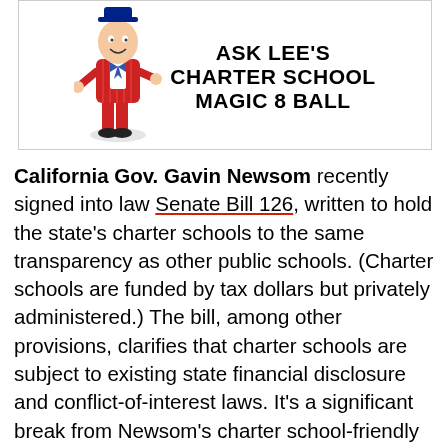[Figure (illustration): Cartoon illustration of a salesman figure in a red striped suit with text reading 'ASK LEE'S CHARTER SCHOOL MAGIC 8 BALL']
California Gov. Gavin Newsom recently signed into law Senate Bill 126, written to hold the state's charter schools to the same transparency as other public schools. (Charter schools are funded by tax dollars but privately administered.) The bill, among other provisions, clarifies that charter schools are subject to existing state financial disclosure and conflict-of-interest laws. It's a significant break from Newsom's charter school-friendly predecessor, Gov. Jerry Brown, who twice vetoed similar legislation.